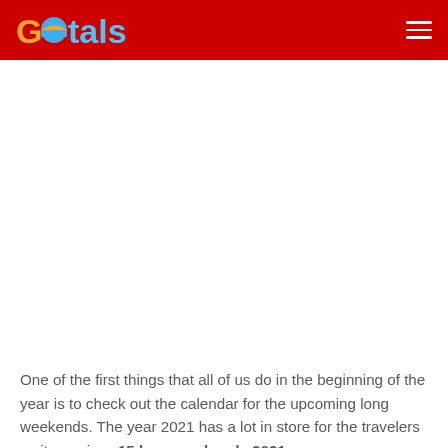Gotals
One of the first things that all of us do in the beginning of the year is to check out the calendar for the upcoming long weekends. The year 2021 has a lot in store for the travelers as it promises 15 long weekends 2021.